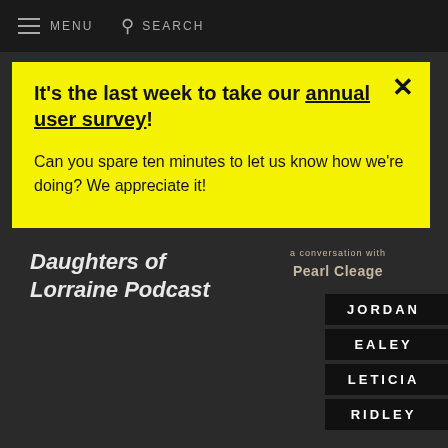MENU  SEARCH
It's the last week to take our annual user survey!
Can you spare ten minutes to let us know how we're doing? We appreciate it!
Daughters of Lorraine Podcast
a conversation with Pearl Cleage
JORDAN
EALEY
LETICIA
RIDLEY